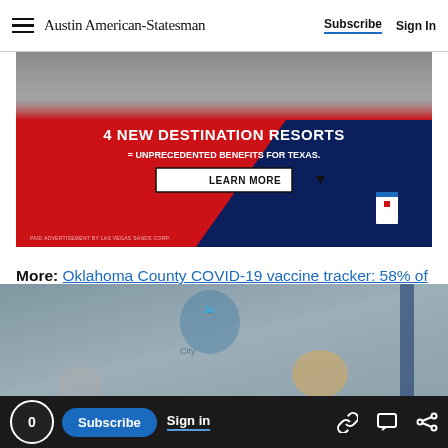Austin American-Statesman | Subscribe | Sign In
[Figure (infographic): Advertisement banner: '4 NEW DESTINATION RESORTS = UNPRECEDENTED BENEFITS FOR TEXAS. LEARN MORE ▼' — Paid advertisement by Las Vegas Sands Corp. Red and navy blue background with doctors/medical staff at top.]
More: Oklahoma County COVID-19 vaccine tracker: 58% of people fully vaccinated
[Figure (photo): Partial photo of a meeting room with a bird logo/seal visible on the wall, people seated around a table, blue flag to the right, partially cropped.]
0 | Subscribe | Sign in | [link icon] [comment icon] [share icon]